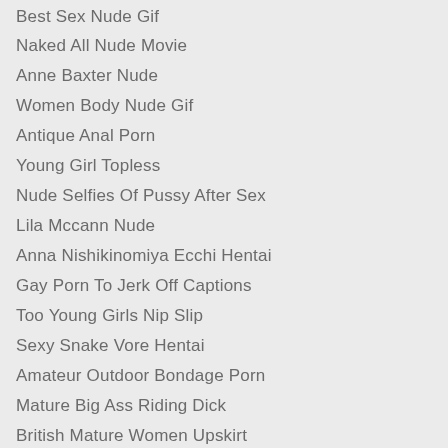Best Sex Nude Gif
Naked All Nude Movie
Anne Baxter Nude
Women Body Nude Gif
Antique Anal Porn
Young Girl Topless
Nude Selfies Of Pussy After Sex
Lila Mccann Nude
Anna Nishikinomiya Ecchi Hentai
Gay Porn To Jerk Off Captions
Too Young Girls Nip Slip
Sexy Snake Vore Hentai
Amateur Outdoor Bondage Porn
Mature Big Ass Riding Dick
British Mature Women Upskirt
Are There Any Nude Of Elvira